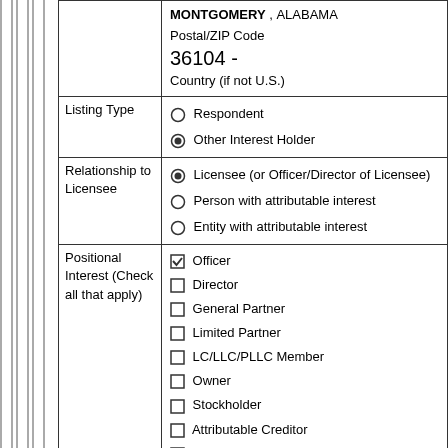| MONTGOMERY , ALABAMA
Postal/ZIP Code
36104 -
Country (if not U.S.) |  |
| Listing Type | Respondent (not selected)
Other Interest Holder (selected) |
| Relationship to Licensee | Licensee (or Officer/Director of Licensee) (selected)
Person with attributable interest (not selected)
Entity with attributable interest (not selected) |
| Positional Interest (Check all that apply) | Officer (checked)
Director (unchecked)
General Partner (unchecked)
Limited Partner (unchecked)
LC/LLC/PLLC Member (unchecked)
Owner (unchecked)
Stockholder (unchecked)
Attributable Creditor (unchecked)
Attributable Investor (unchecked)
Other (please specify): (unchecked) |
| FCC Registration Number | 0019418755 |